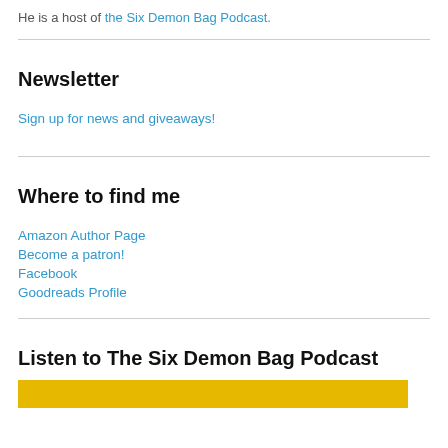He is a host of the Six Demon Bag Podcast.
Newsletter
Sign up for news and giveaways!
Where to find me
Amazon Author Page
Become a patron!
Facebook
Goodreads Profile
Listen to The Six Demon Bag Podcast
[Figure (other): Yellow podcast banner image strip]